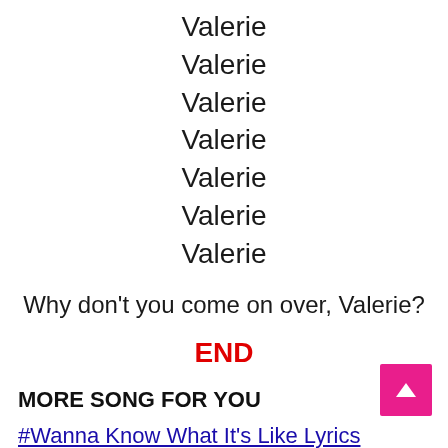Valerie
Valerie
Valerie
Valerie
Valerie
Valerie
Valerie
Why don’t you come on over, Valerie?
END
MORE SONG FOR YOU
#Wanna Know What It’s Like Lyrics